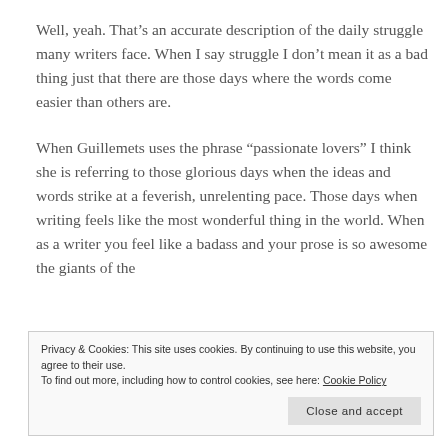Well, yeah. That's an accurate description of the daily struggle many writers face. When I say struggle I don't mean it as a bad thing just that there are those days where the words come easier than others are.
When Guillemets uses the phrase “passionate lovers” I think she is referring to those glorious days when the ideas and words strike at a feverish, unrelenting pace. Those days when writing feels like the most wonderful thing in the world. When as a writer you feel like a badass and your prose is so awesome the giants of the
Privacy & Cookies: This site uses cookies. By continuing to use this website, you agree to their use.
To find out more, including how to control cookies, see here: Cookie Policy